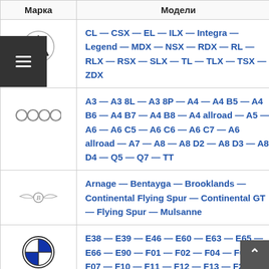| Марка | Модели |
| --- | --- |
| [Acura logo] | CL — CSX — EL — ILX — Integra — Legend — MDX — NSX — RDX — RL — RLX — RSX — SLX — TL — TLX — TSX — ZDX |
| [Audi logo] | A3 — A3 8L — A3 8P — A4 — A4 B5 — A4 B6 — A4 B7 — A4 B8 — A4 allroad — A5 — A6 — A6 C5 — A6 C6 — A6 C7 — A6 allroad — A7 — A8 — A8 D2 — A8 D3 — A8 D4 — Q5 — Q7 — TT |
| [Bentley logo] | Arnage — Bentayga — Brooklands — Continental Flying Spur — Continental GT — Flying Spur — Mulsanne |
| [BMW logo] | E38 — E39 — E46 — E60 — E63 — E65 — E66 — E90 — F01 — F02 — F04 — F06 — F07 — F10 — F11 — F12 — F13 — F20 — F22 — F30 — F32 — F45 — G11 — G12 — X1 — X1 E84 — X1 F48 — X3 — X3 E83 — |